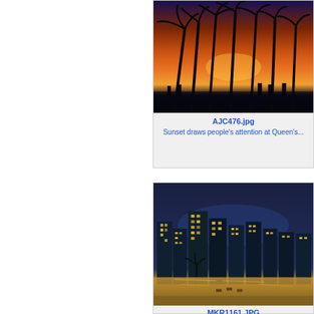[Figure (photo): Sunset scene at Queen's beach with palm trees silhouetted against an orange and purple sky, people gathered on the beach]
AJC476.jpg
Sunset draws people's attention at Queen's...
[Figure (photo): The Waikiki skyline at night, with hotel buildings lit up and their lights reflected on the beach and water]
MKR1161.JPG
The Waikiki skyline at night, with lights from...